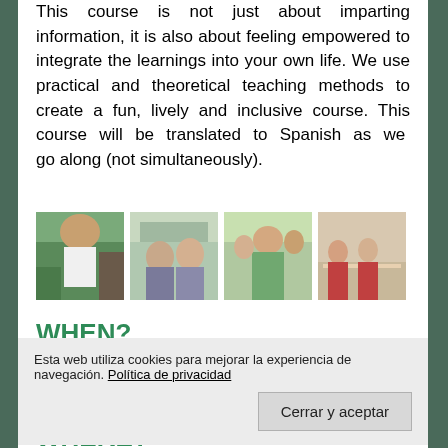This course is not just about imparting information, it is also about feeling empowered to integrate the learnings into your own life. We use practical and theoretical teaching methods to create a fun, lively and inclusive course. This course will be translated to Spanish as we go along (not simultaneously).
[Figure (photo): Four photos showing course participants in outdoor and indoor settings, engaging in group activities.]
WHEN?
Esta web utiliza cookies para mejorar la experiencia de navegación. Política de privacidad
WHERE?